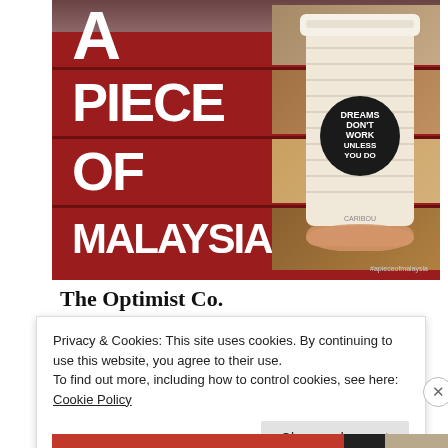[Figure (photo): A promotional image with a deep red background showing bold white text 'A PIECE OF MALAYSIA' with a coffee cup featuring a circular label reading 'DREAMS DON'T WORK UNLESS YOU DO', and a hashtag #apieceofmalaysia in the bottom right corner.]
The Optimist Co.
The Optimist was founded with a simple aim, to spread
Privacy & Cookies: This site uses cookies. By continuing to use this website, you agree to their use.
To find out more, including how to control cookies, see here: Cookie Policy
Close and accept